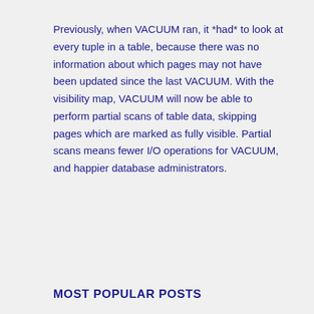Previously, when VACUUM ran, it *had* to look at every tuple in a table, because there was no information about which pages may not have been updated since the last VACUUM. With the visibility map, VACUUM will now be able to perform partial scans of table data, skipping pages which are marked as fully visible. Partial scans means fewer I/O operations for VACUUM, and happier database administrators.
MOST POPULAR POSTS